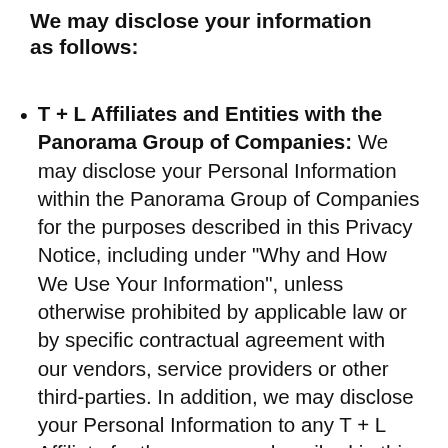We may disclose your information as follows:
T + L Affiliates and Entities with the Panorama Group of Companies: We may disclose your Personal Information within the Panorama Group of Companies for the purposes described in this Privacy Notice, including under “Why and How We Use Your Information”, unless otherwise prohibited by applicable law or by specific contractual agreement with our vendors, service providers or other third-parties. In addition, we may disclose your Personal Information to any T + L Affiliate for the purposes described in this Privacy Notice, including